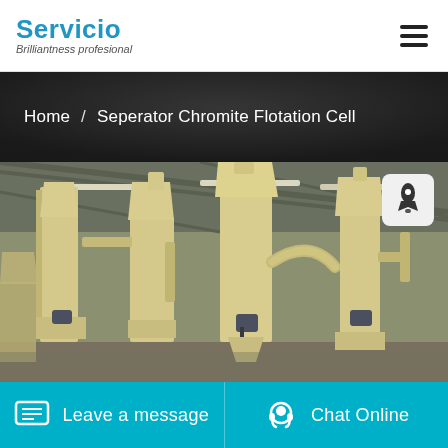Servicio Brilliantness profesional
Home / Seperator Chromite Flotation Cell
[Figure (photo): Industrial flotation cell / separator machinery inside a large warehouse facility. Multiple large cream/beige-colored cylindrical and conical separation units with connecting pipes and motors, arranged in a row under a steel roof structure.]
Leave a message
Chat Online